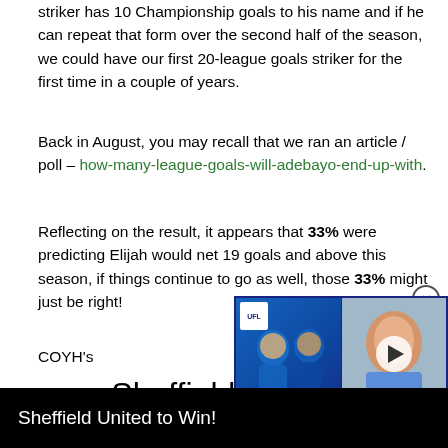striker has 10 Championship goals to his name and if he can repeat that form over the second half of the season, we could have our first 20-league goals striker for the first time in a couple of years.
Back in August, you may recall that we ran an article / poll – how-many-league-goals-will-adebayo-end-up-with.
Reflecting on the result, it appears that 33% were predicting Elijah would net 19 goals and above this season, if things continue to go as well, those 33% might just be right!
COYH's
Sheffield United
[Figure (screenshot): Video overlay showing two football players in blue Chelsea kit with 'DEAL COMPLETE' banner and a man speaking on the right side. UFL badge visible top left.]
Sheffield United to Win!